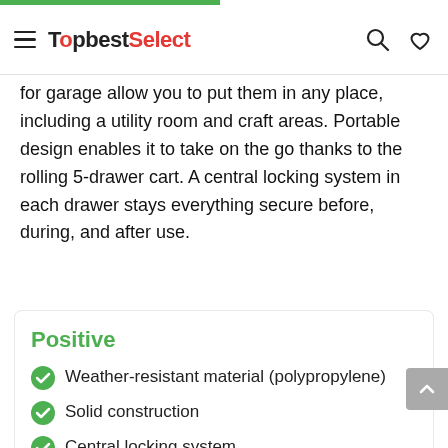TopbestSelect
for garage allow you to put them in any place, including a utility room and craft areas. Portable design enables it to take on the go thanks to the rolling 5-drawer cart. A central locking system in each drawer stays everything secure before, during, and after use.
Positive
Weather-resistant material (polypropylene)
Solid construction
Central locking system